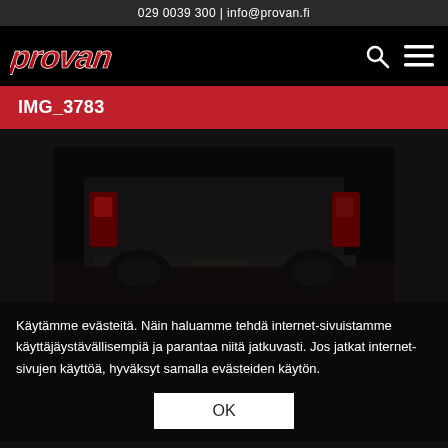029 0039 300 | info@provan.fi
[Figure (logo): Provan logo in red and white italic lettering on black background with search and menu icons]
IMG_3783
[Figure (photo): Dark photo of van/truck rear area with equipment, taillights visible]
Käytämme evästeitä. Näin haluamme tehdä internet-sivuistamme käyttäjäystävällisempiä ja parantaa niitä jatkuvasti. Jos jatkat internet-sivujen käyttöä, hyväksyt samalla evästeiden käytön.
OK